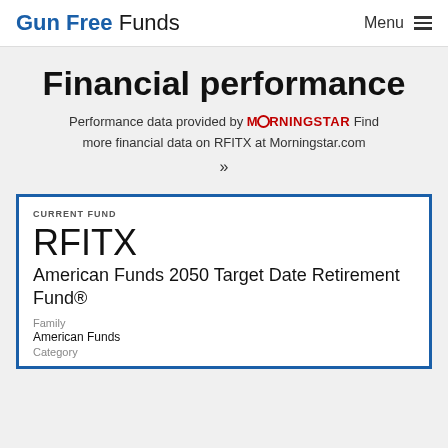Gun Free Funds | Menu
Financial performance
Performance data provided by MORNINGSTAR Find more financial data on RFITX at Morningstar.com »
CURRENT FUND
RFITX
American Funds 2050 Target Date Retirement Fund®
Family
American Funds
Category